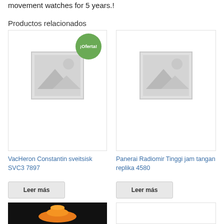movement watches for 5 years.!
Productos relacionados
[Figure (photo): Product placeholder image with ¡Oferta! badge (sale badge), left card]
[Figure (photo): Product placeholder image, right card]
VacHeron Constantin sveitsisk SVC3 7897
Panerai Radiomir Tinggi jam tangan replika 4580
Leer más
Leer más
[Figure (photo): Bottom left product image showing orange item on black background]
[Figure (photo): Bottom right product card, empty/white]